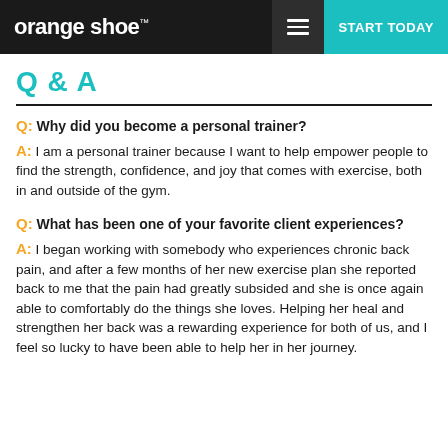orange shoe™  ☰  START TODAY
Q & A
Q: Why did you become a personal trainer?
A: I am a personal trainer because I want to help empower people to find the strength, confidence, and joy that comes with exercise, both in and outside of the gym.
Q: What has been one of your favorite client experiences?
A: I began working with somebody who experiences chronic back pain, and after a few months of her new exercise plan she reported back to me that the pain had greatly subsided and she is once again able to comfortably do the things she loves. Helping her heal and strengthen her back was a rewarding experience for both of us, and I feel so lucky to have been able to help her in her journey.